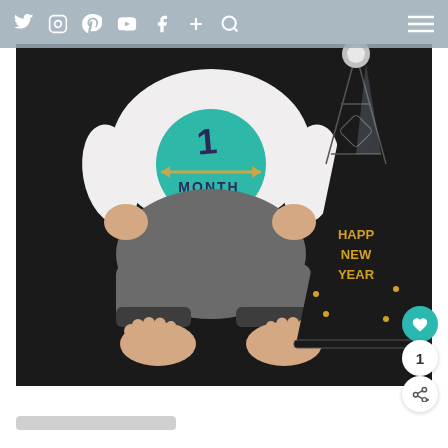[Figure (screenshot): Website navigation bar with social media icons: Twitter, Instagram, Pinterest, YouTube, Facebook, plus/add, search icons on the left, and a hamburger menu icon on the right, on a semi-transparent grayish-blue background.]
[Figure (photo): Photo of a baby sitting on a dark background wearing a white long-sleeve onesie with a teal circle showing '1 MONTH' with arrows, gray pants, bare feet. Next to the baby is a black and gold party hat that reads 'HAPPY NEW YEAR'.]
[Figure (screenshot): UI action buttons on the right side: teal heart/like button, white circle with number 1 (like count), white circle with share icon.]